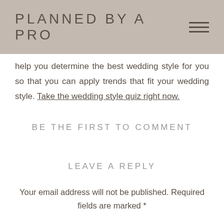PLANNED BY A PRO
help you determine the best wedding style for you so that you can apply trends that fit your wedding style. Take the wedding style quiz right now.
BE THE FIRST TO COMMENT
LEAVE A REPLY
Your email address will not be published. Required fields are marked *